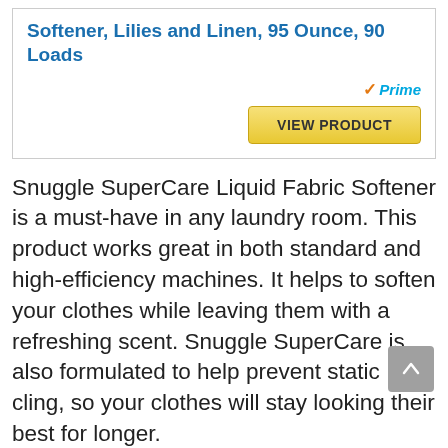Softener, Lilies and Linen, 95 Ounce, 90 Loads
[Figure (logo): Amazon Prime badge with checkmark and 'Prime' text in blue italic]
[Figure (other): Golden 'VIEW PRODUCT' button]
Snuggle SuperCare Liquid Fabric Softener is a must-have in any laundry room. This product works great in both standard and high-efficiency machines. It helps to soften your clothes while leaving them with a refreshing scent. Snuggle SuperCare is also formulated to help prevent static cling, so your clothes will stay looking their best for longer.
Snuggle Fabric Softener is a must-have in